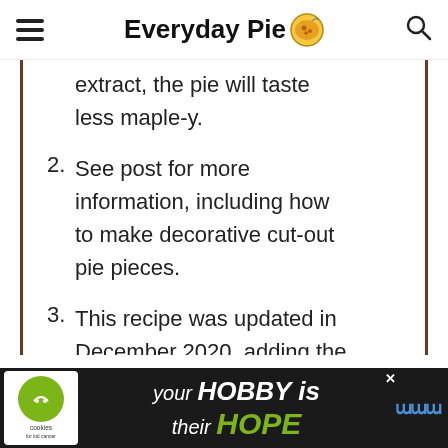Everyday Pie
extract, the pie will taste less maple-y.
2. See post for more information, including how to make decorative cut-out pie pieces.
3. This recipe was updated in December 2020, adding the step of pre-cooking the
[Figure (screenshot): Advertisement banner at bottom: cookies for kid cancer logo, text 'your HOBBY is their HOPE' on dark background]